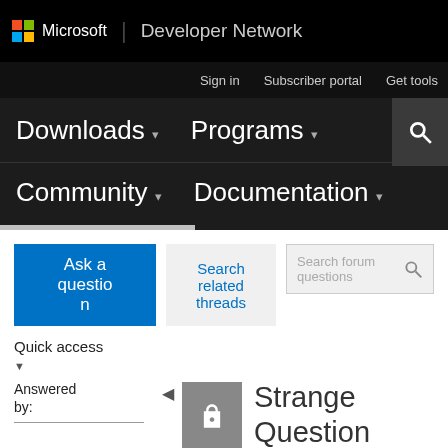Microsoft Developer Network
Sign in   Subscriber portal   Get tools
Downloads   Programs   Community   Documentation
Ask a question
Search related threads
Search forum questions
Quick access
Answered by:
Strange Question Mart in the Output